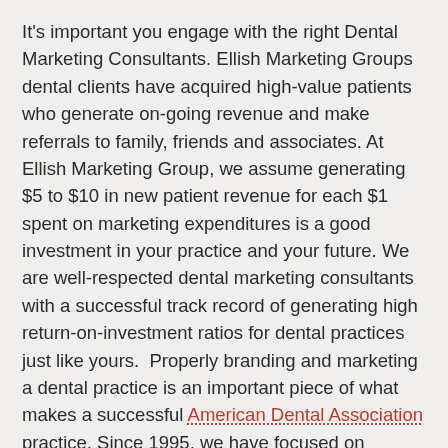It's important you engage with the right Dental Marketing Consultants. Ellish Marketing Groups dental clients have acquired high-value patients who generate on-going revenue and make referrals to family, friends and associates. At Ellish Marketing Group, we assume generating $5 to $10 in new patient revenue for each $1 spent on marketing expenditures is a good investment in your practice and your future. We are well-respected dental marketing consultants with a successful track record of generating high return-on-investment ratios for dental practices just like yours.  Properly branding and marketing a dental practice is an important piece of what makes a successful American Dental Association practice. Since 1995, we have focused on generating profitable new customers/patients for our clients.
Dental Marketing Consultants that